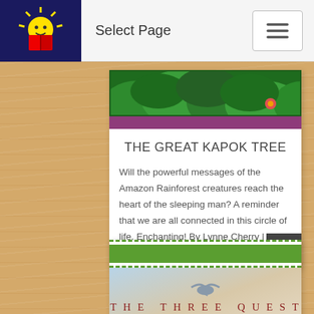Select Page
[Figure (illustration): Book cover image for The Great Kapok Tree - rainforest illustration with green foliage]
THE GREAT KAPOK TREE
Will the powerful messages of the Amazon Rainforest creatures reach the heart of the sleeping man? A reminder that we are all connected in this circle of life. Enchanting! By Lynne Cherry | AGES 4-7
[Figure (illustration): Green decorative border/bar for second book card]
[Figure (illustration): Book cover image for The Three Questions - bird in flight over sky]